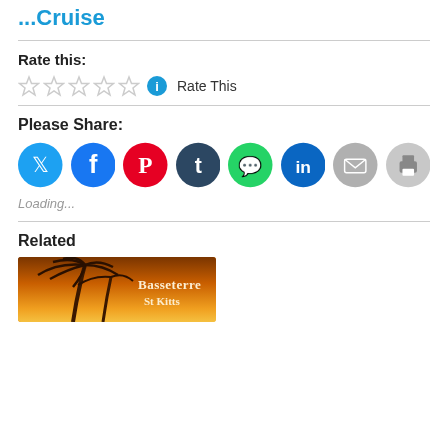...Cruise
Rate this:
[Figure (other): Five empty star rating icons followed by an info circle icon and 'Rate This' text]
Please Share:
[Figure (other): Social sharing icons: Twitter (blue), Facebook (blue), Pinterest (red), Tumblr (dark navy), WhatsApp (green), LinkedIn (blue), Email (grey), Print (grey)]
Loading...
Related
[Figure (photo): Orange sunset tropical scene with palm tree silhouette and text 'Basseterre St Kitts']